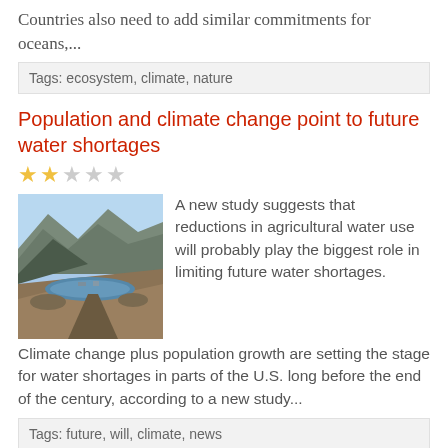Countries also need to add similar commitments for oceans,...
Tags: ecosystem, climate, nature
Population and climate change point to future water shortages
[Figure (illustration): Star rating showing 2 out of 5 stars filled in gold]
[Figure (photo): Photo of a dry reservoir or lake with low water level, mountains in background, boats or structures visible near water]
A new study suggests that reductions in agricultural water use will probably play the biggest role in limiting future water shortages. Climate change plus population growth are setting the stage for water shortages in parts of the U.S. long before the end of the century, according to a new study...
Tags: future, will, climate, news
African great apes to suffer massive range loss in next 30 years